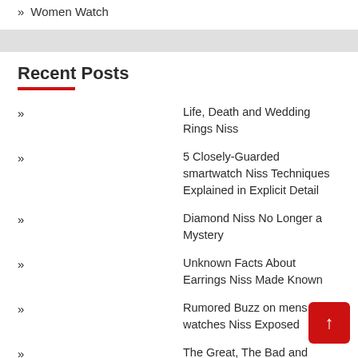» Women Watch
Recent Posts
» Life, Death and Wedding Rings Niss
» 5 Closely-Guarded smartwatch Niss Techniques Explained in Explicit Detail
» Diamond Niss No Longer a Mystery
» Unknown Facts About Earrings Niss Made Known
» Rumored Buzz on mens watches Niss Exposed
» The Great, The Bad and Wedding Rings Niss
» Why Everyone Is Speaking About Digital Watch Niss...The Easy Reality Revealed